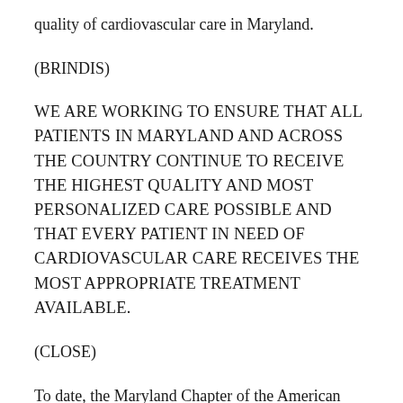quality of cardiovascular care in Maryland.
(BRINDIS)
WE ARE WORKING TO ENSURE THAT ALL PATIENTS IN MARYLAND AND ACROSS THE COUNTRY CONTINUE TO RECEIVE THE HIGHEST QUALITY AND MOST PERSONALIZED CARE POSSIBLE AND THAT EVERY PATIENT IN NEED OF CARDIOVASCULAR CARE RECEIVES THE MOST APPROPRIATE TREATMENT AVAILABLE.
(CLOSE)
To date, the Maryland Chapter of the American College of Cardiology along with other industry leaders are working with state officials to advocate for the accreditation of catheterization labs, use of cardiovascular registries and other initiatives needed to improve the quality of cardiovascular care